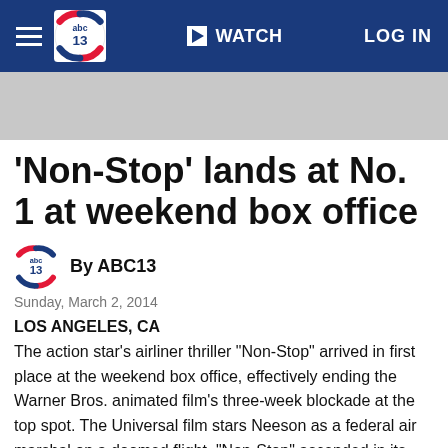ABC13 | WATCH | LOG IN
[Figure (other): Gray advertisement banner placeholder]
'Non-Stop' lands at No. 1 at weekend box office
By ABC13
Sunday, March 2, 2014
LOS ANGELES, CA
The action star's airliner thriller "Non-Stop" arrived in first place at the weekend box office, effectively ending the Warner Bros. animated film's three-week blockade at the top spot. The Universal film stars Neeson as a federal air marshal on a doomed flight. "Non-Stop" ascended in its first